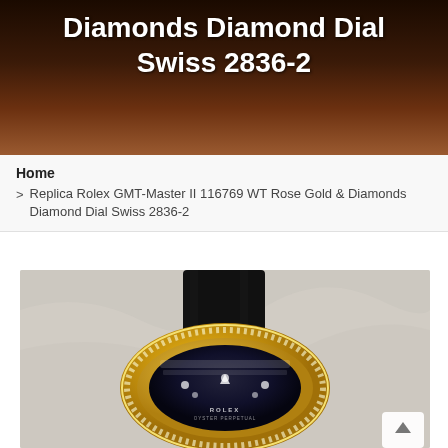Diamonds Diamond Dial Swiss 2836-2
Home
> Replica Rolex GMT-Master II 116769 WT Rose Gold & Diamonds Diamond Dial Swiss 2836-2
[Figure (photo): Photo of a Rolex GMT-Master II replica watch with rose gold and diamond-studded case, black rubber strap, diamond dial, on a light marble background.]